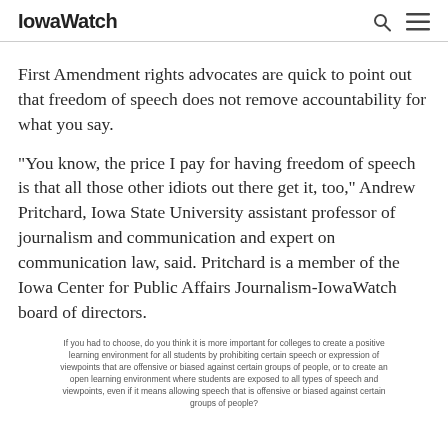IowaWatch
First Amendment rights advocates are quick to point out that freedom of speech does not remove accountability for what you say.
“You know, the price I pay for having freedom of speech is that all those other idiots out there get it, too,” Andrew Pritchard, Iowa State University assistant professor of journalism and communication and expert on communication law, said. Pritchard is a member of the Iowa Center for Public Affairs Journalism-IowaWatch board of directors.
If you had to choose, do you think it is more important for colleges to create a positive learning environment for all students by prohibiting certain speech or expression of viewpoints that are offensive or biased against certain groups of people, or to create an open learning environment where students are exposed to all types of speech and viewpoints, even if it means allowing speech that is offensive or biased against certain groups of people?